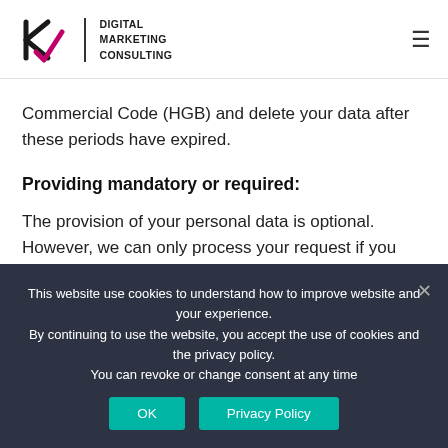Digital Marketing Consulting
Commercial Code (HGB) and delete your data after these periods have expired.
Providing mandatory or required:
The provision of your personal data is optional. However, we can only process your request if you provide us with your name, e-mail address and the reason for the inquiry.
This website use cookies to understand how to improve website and your experience.
By continuing to use the website, you accept the use of cookies and the privacy policy.
You can revoke or change consent at any time